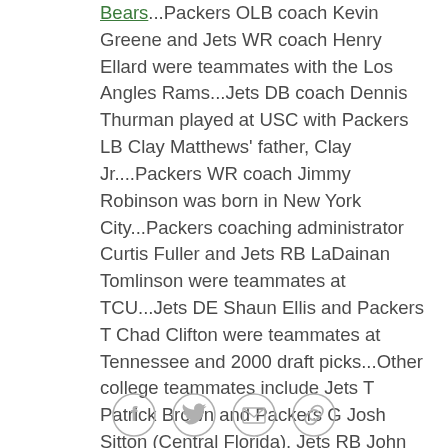Bears...Packers OLB coach Kevin Greene and Jets WR coach Henry Ellard were teammates with the Los Angles Rams...Jets DB coach Dennis Thurman played at USC with Packers LB Clay Matthews' father, Clay Jr....Packers WR coach Jimmy Robinson was born in New York City...Packers coaching administrator Curtis Fuller and Jets RB LaDainan Tomlinson were teammates at TCU...Jets DE Shaun Ellis and Packers T Chad Clifton were teammates at Tennessee and 2000 draft picks...Other college teammates include Jets T Patrick Brown and Packers G Josh Sitton (Central Florida), Jets RB John Conner and Packers P Tim Masthay (Kentucky), Jets RB Shonn Greene, DE Matt Kroul and Packers T Bryan Bulaga (Iowa), Jets S Dwight Lowery and Packers WR James Jones (San Jose State), Jets QB Mark Sanchez, RB Joe McKnight and Packers LB Clay Matthews (USC). Jets G Matt
[Figure (other): Social sharing icons: Facebook, Twitter, Email, Link/Copy]